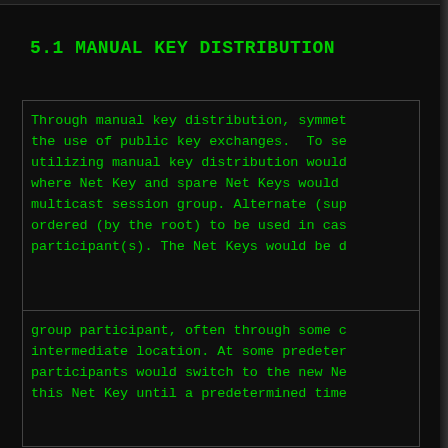5.1 MANUAL KEY DISTRIBUTION
Through manual key distribution, symmet the use of public key exchanges.  To se utilizing manual key distribution would where Net Key and spare Net Keys would multicast session group. Alternate (sup ordered (by the root) to be used in cas participant(s). The Net Keys would be d
Wallner, et al. Informational [Page 7] — RFC 2627 Key Management for Multicast June 1999
group participant, often through some c intermediate location. At some predeter participants would switch to the new Ne this Net Key until a predetermined time Net Key. If the Net Key had been used i